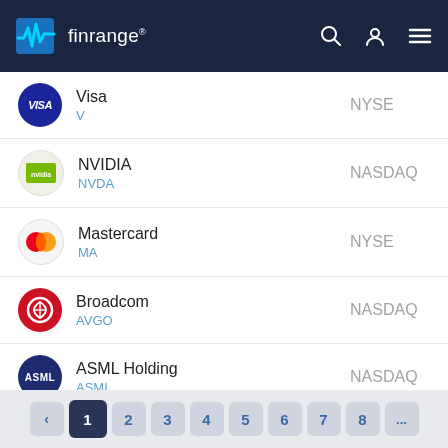finrange
Visa V NYSE
NVIDIA NVDA NASDAQ
Mastercard MA NYSE
Broadcom AVGO NASDAQ
ASML Holding ASML NASDAQ
Oracle ORCL NYSE
< 1 2 3 4 5 6 7 8 ...